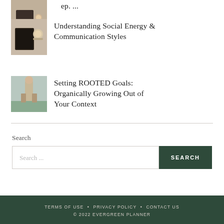[Figure (photo): Thumbnail image of notebook and mug on a light background]
Understanding Social Energy & Communication Styles
[Figure (photo): Thumbnail image of a person standing outdoors in a field]
Setting ROOTED Goals: Organically Growing Out of Your Context
Search
Search ...
TERMS OF USE • PRIVACY POLICY • CONTACT US © 2022 EVERGREEN PLANNER